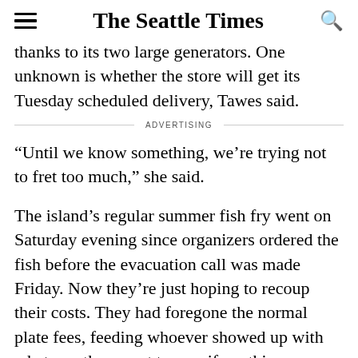The Seattle Times
thanks to its two large generators. One unknown is whether the store will get its Tuesday scheduled delivery, Tawes said.
ADVERTISING
“Until we know something, we’re trying not to fret too much,” she said.
The island’s regular summer fish fry went on Saturday evening since organizers ordered the fish before the evacuation call was made Friday. Now they’re just hoping to recoup their costs. They had foregone the normal plate fees, feeding whoever showed up with whatever they want to pay, if anything.